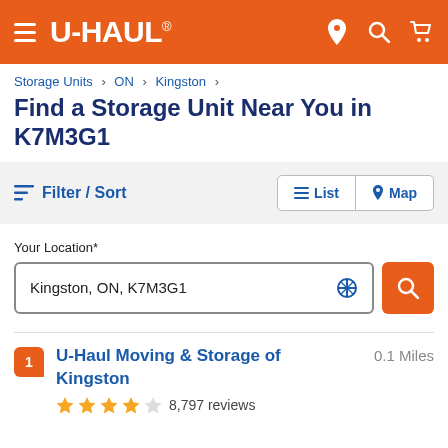U-HAUL® — hamburger menu, location, search, cart icons
Storage Units > ON > Kingston >
Find a Storage Unit Near You in K7M3G1
Filter / Sort   List   Map
Your Location*
Kingston, ON, K7M3G1
1  U-Haul Moving & Storage of Kingston   0.1 Miles
★★★★☆ 8,797 reviews